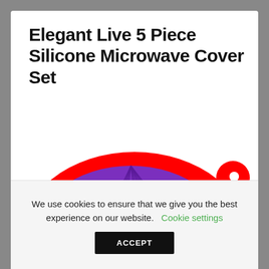Elegant Live 5 Piece Silicone Microwave Cover Set
[Figure (photo): Stacked silicone microwave cover lids in red, purple, cyan/blue, and green colors, shown as semicircles fanned out from smallest to largest]
We use cookies to ensure that we give you the best experience on our website.
Cookie settings
ACCEPT